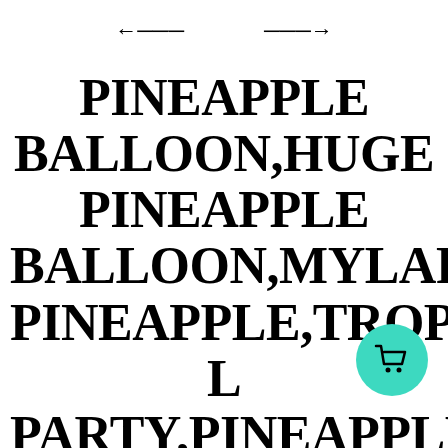[Figure (other): Navigation arrows: left arrow and right arrow centered at top of page]
PINEAPPLE BALLOON,HUGE PINEAPPLE BALLOON,MYLAR PINEAPPLE,TROPICAL PARTY,PINEAPPLE PARTY,PARTY LIKE A PINEAPPLE,LUAU,HAWAIIAN PARTY,BEACH
[Figure (other): Teal/mint circular button with shopping cart icon in bottom right corner]